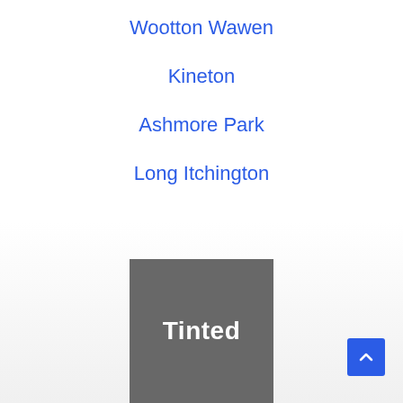Wootton Wawen
Kineton
Ashmore Park
Long Itchington
[Figure (logo): Tinted logo — grey square background with white bold text 'Tinted']
[Figure (other): Blue scroll-to-top button with upward chevron arrow]